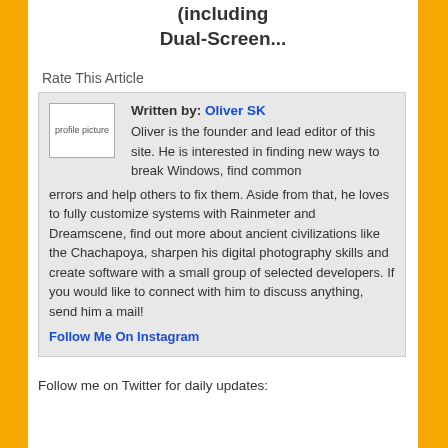(including Dual-Screen...)
Rate This Article
[Figure (other): Profile picture placeholder image]
Written by: Oliver SK
Oliver is the founder and lead editor of this site. He is interested in finding new ways to break Windows, find common errors and help others to fix them. Aside from that, he loves to fully customize systems with Rainmeter and Dreamscene, find out more about ancient civilizations like the Chachapoya, sharpen his digital photography skills and create software with a small group of selected developers. If you would like to connect with him to discuss anything, send him a mail!
Follow Me On Instagram
Follow me on Twitter for daily updates: